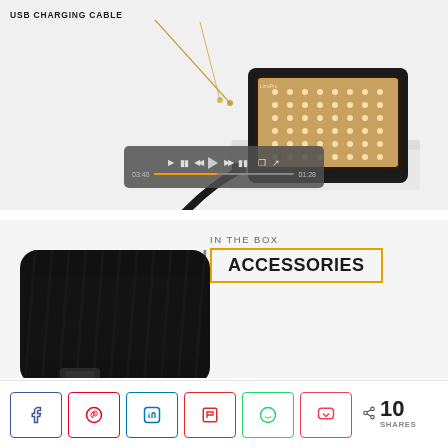[Figure (photo): USB charging cable connected to a portable LED light (LitraPro) on a white stand, with a video player overlay bar at the bottom of the image. A label 'USB CHARGING CABLE' points to the cable with a diagonal line.]
USB CHARGING CABLE
[Figure (photo): Close-up photo of a black ribbed portable LED light accessory (LitraPro) from the front-bottom angle.]
IN THE BOX
ACCESSORIES
< 10 SHARES